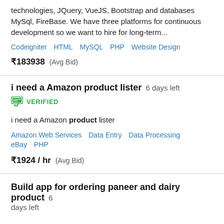technologies, JQuery, VueJS, Bootstrap and databases MySql, FireBase. We have three platforms for continuous development so we want to hire for long-term...
Codeigniter   HTML   MySQL   PHP   Website Design
₹183938  (Avg Bid)
i need a Amazon product lister   6 days left
VERIFIED
i need a Amazon product lister
Amazon Web Services   Data Entry   Data Processing   eBay   PHP
₹1924 / hr  (Avg Bid)
Build app for ordering paneer and dairy product   6 days left